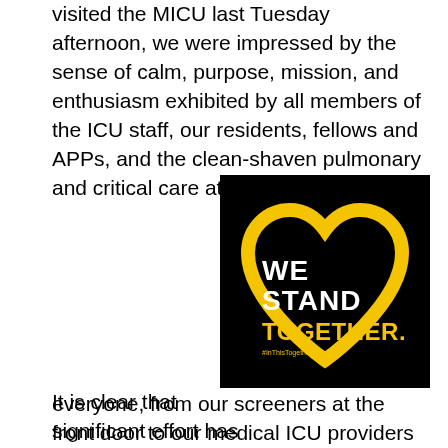visited the MICU last Tuesday afternoon, we were impressed by the sense of calm, purpose, mission, and enthusiasm exhibited by all members of the ICU staff, our residents, fellows and APPs, and the clean-shaven pulmonary and critical care attending staff.
It is clear that significant effort has gone into executing our hospital's and department's response, and it is very gratifying to see how everyone has risen to this challenge. To everyone, from our screeners at the front door to our medical ICU providers to the environmental service members, all performing at the top of their training, I cannot say this enough to you: Thank you. Your
[Figure (illustration): Black square graphic with a yellow heart outline and bold white and yellow text reading 'WE STAND TOGETHER.' with smaller text '#InThisTogether']